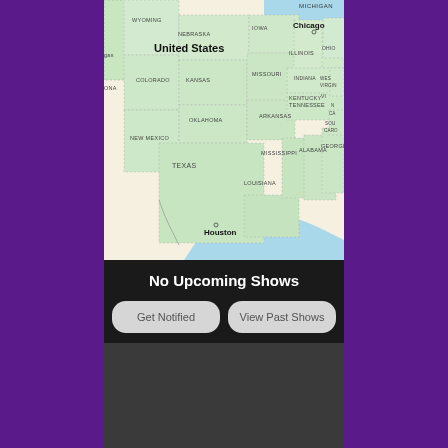[Figure (map): Map of the United States showing states including Wyoming, Nebraska, Iowa, Illinois, Indiana, Ohio, Colorado, Kansas, Missouri, Kentucky, West Virginia, Oklahoma, Tennessee, Arkansas, New Mexico, Mississippi, Alabama, Georgia, South Carolina, Texas, Louisiana, with cities Chicago and Houston marked.]
No Upcoming Shows
Get Notified
View Past Shows